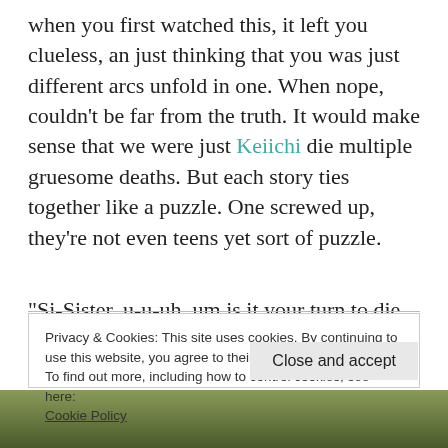when you first watched this, it left you clueless, an just thinking that you was just different arcs unfold in one. When nope, couldn't be far from the truth. It would make sense that we were just Keiichi die multiple gruesome deaths. But each story ties together like a puzzle. One screwed up, they're not even teens yet sort of puzzle.
“Si-Sister, u-u-uh, um is it your turn to die this time. I died last time.”
Privacy & Cookies: This site uses cookies. By continuing to use this website, you agree to their use.
To find out more, including how to control cookies, see here:
Cookie Policy
[Figure (photo): Partial photo strip at bottom of page showing a dark outdoor scene]